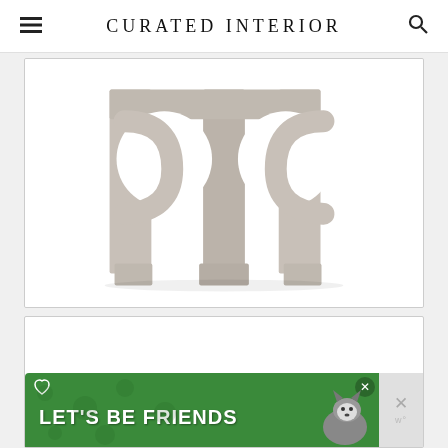CURATED INTERIOR
[Figure (photo): Gray wooden furniture base/pedestal with curved geometric cutouts and square legs, shown against white background]
[Figure (photo): White blank product image card (second furniture photo, mostly empty)]
[Figure (other): Green advertisement banner reading LET'S BE FRIENDS with a dog/husky photo and close button]